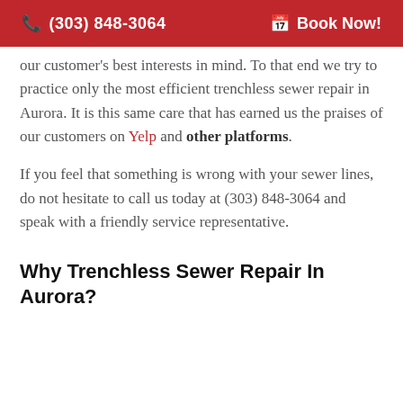(303) 848-3064   Book Now!
our customer’s best interests in mind. To that end we try to practice only the most efficient trenchless sewer repair in Aurora. It is this same care that has earned us the praises of our customers on Yelp and other platforms.
If you feel that something is wrong with your sewer lines, do not hesitate to call us today at (303) 848-3064 and speak with a friendly service representative.
Why Trenchless Sewer Repair In Aurora?